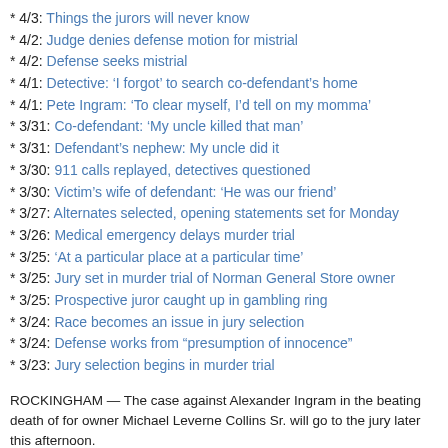* 4/3: Things the jurors will never know
* 4/2: Judge denies defense motion for mistrial
* 4/2: Defense seeks mistrial
* 4/1: Detective: ‘I forgot’ to search co-defendant’s home
* 4/1: Pete Ingram: ‘To clear myself, I’d tell on my momma’
* 3/31: Co-defendant: ‘My uncle killed that man’
* 3/31: Defendant’s nephew: My uncle did it
* 3/30: 911 calls replayed, detectives questioned
* 3/30: Victim’s wife of defendant: ‘He was our friend’
* 3/27: Alternates selected, opening statements set for Monday
* 3/26: Medical emergency delays murder trial
* 3/25: ‘At a particular place at a particular time’
* 3/25: Jury set in murder trial of Norman General Store owner
* 3/25: Prospective juror caught up in gambling ring
* 3/24: Race becomes an issue in jury selection
* 3/24: Defense works from “presumption of innocence”
* 3/23: Jury selection begins in murder trial
ROCKINGHAM — The case against Alexander Ingram in the beating death of former owner Michael Leverne Collins Sr. will go to the jury later this afternoon.
Assistant District Attorney Dawn Layton finished with her 21st and final witness, N Examiner Deborah Radisch, at 11:46 a.m., towards the end of the morning sessio